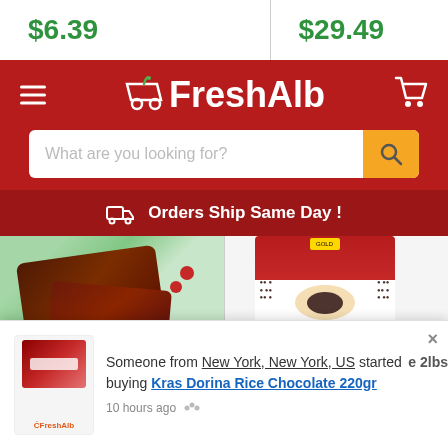$6.39
$29.49
[Figure (logo): FreshAlb grocery delivery website header with logo, hamburger menu, cart icon, search bar, and shipping banner]
What are you looking for?
Orders Ship Same Day !
[Figure (photo): Sliced beef/meat with lettuce and cherry tomatoes on white background, with FreshAlb logo below]
[Figure (photo): Red bag of coffee beans with coffee cup image, with FreshAlb logo below]
$11.99
$29.99
e 2lbs
Brother and Sister
Someone from New York, New York, US started buying Kras Dorina Rice Chocolate 220gr
10 hours ago